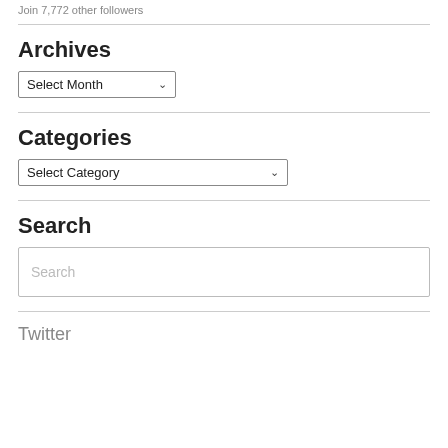Join 7,772 other followers
Archives
[Figure (screenshot): Dropdown selector labeled 'Select Month' with chevron arrow]
Categories
[Figure (screenshot): Dropdown selector labeled 'Select Category' with chevron arrow]
Search
[Figure (screenshot): Search input box with placeholder text 'Search']
Twitter